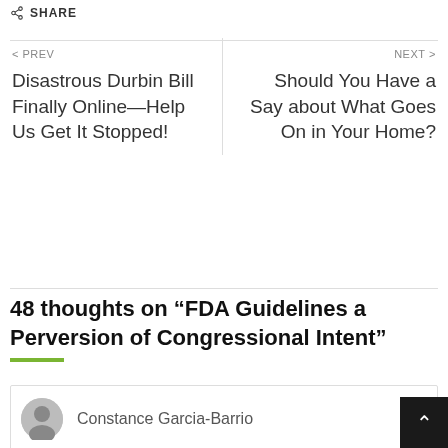SHARE
< PREV
Disastrous Durbin Bill Finally Online—Help Us Get It Stopped!
NEXT >
Should You Have a Say about What Goes On in Your Home?
48 thoughts on “FDA Guidelines a Perversion of Congressional Intent”
Constance Garcia-Barrio